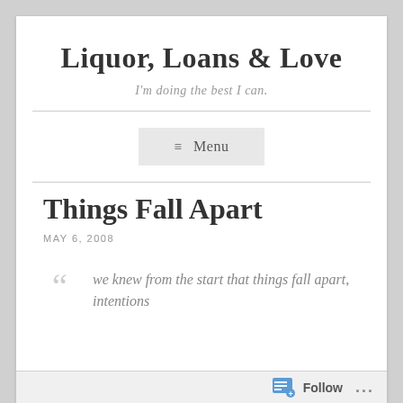Liquor, Loans & Love
I'm doing the best I can.
Menu
Things Fall Apart
MAY 6, 2008
we knew from the start that things fall apart, intentions
Follow